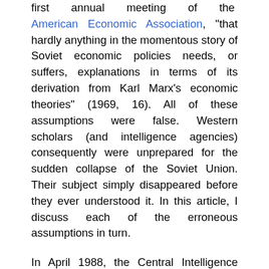first annual meeting of the American Economic Association, "that hardly anything in the momentous story of Soviet economic policies needs, or suffers, explanations in terms of its derivation from Karl Marx's economic theories" (1969, 16). All of these assumptions were false. Western scholars (and intelligence agencies) consequently were unprepared for the sudden collapse of the Soviet Union. Their subject simply disappeared before they ever understood it. In this article, I discuss each of the erroneous assumptions in turn.
In April 1988, the Central Intelligence Agency and the Defense Intelligence Agency told the Joint Economic Committee of Congress that the Soviet economy had grown by approximately 2 percent yearly from 1981 to 1985, by 2.2 percent yearly from 1976 to 1980, by 3.1 percent yearly from 1971 to 1975, and by 5 percent yearly from 1966 to 1970 (U.S. Central Intelligence Agency, 1988, 61). These estimates were given to